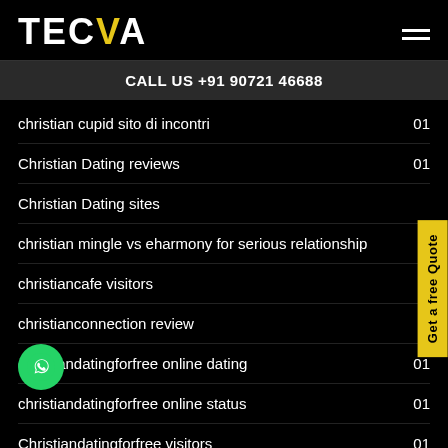TECVA
CALL US +91 90721 46688
christian cupid sito di incontri  01
Christian Dating reviews  01
Christian Dating sites
christian mingle vs eharmony for serious relationship
christiancafe visitors
christianconnection review
christiandatingforfree online dating  01
christiandatingforfree online status  01
Christiandatingforfree visitors  01